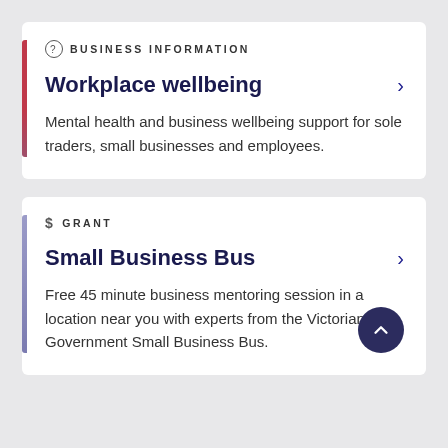BUSINESS INFORMATION
Workplace wellbeing
Mental health and business wellbeing support for sole traders, small businesses and employees.
GRANT
Small Business Bus
Free 45 minute business mentoring session in a location near you with experts from the Victorian Government Small Business Bus.